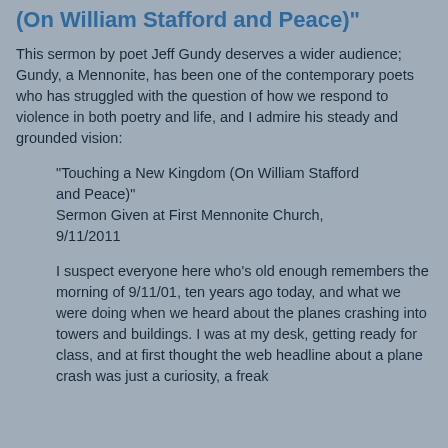(On William Stafford and Peace)"
This sermon by poet Jeff Gundy deserves a wider audience; Gundy, a Mennonite, has been one of the contemporary poets who has struggled with the question of how we respond to violence in both poetry and life, and I admire his steady and grounded vision:
"Touching a New Kingdom (On William Stafford and Peace)"
Sermon Given at First Mennonite Church, 9/11/2011
I suspect everyone here who’s old enough remembers the morning of 9/11/01, ten years ago today, and what we were doing when we heard about the planes crashing into towers and buildings. I was at my desk, getting ready for class, and at first thought the web headline about a plane crash was just a curiosity, a freak accident. Of course, then we learned the…